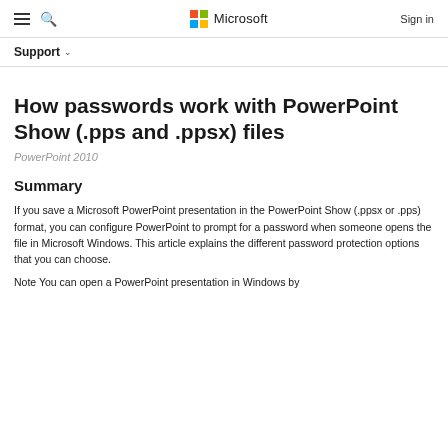Microsoft — Sign in
Support
How passwords work with PowerPoint Show (.pps and .ppsx) files
PowerPoint 2010
Summary
If you save a Microsoft PowerPoint presentation in the PowerPoint Show (.ppsx or .pps)  format, you can configure PowerPoint to prompt for a password when someone opens the file in Microsoft Windows. This article explains the different password protection options that you can choose.
Note You can open a PowerPoint presentation in Windows by